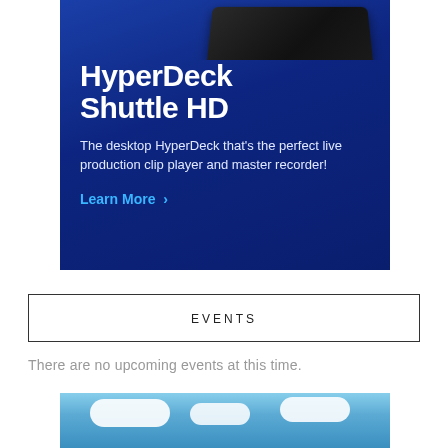[Figure (illustration): HyperDeck Shuttle HD advertisement banner with dark blue gradient background, showing a black hardware device at top, bold white title text, description text, and a cyan 'Learn More >' link.]
EVENTS
There are no upcoming events at this time.
[Figure (photo): Partial photo of a blue sky with white clouds, cropped at the bottom of the page.]